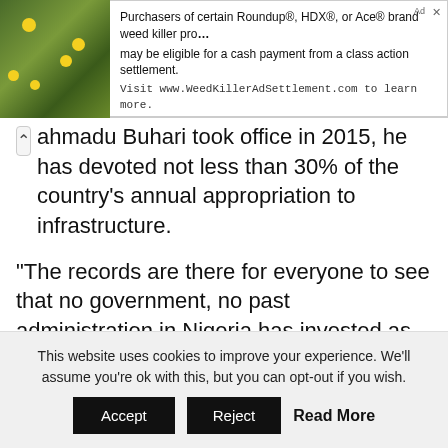[Figure (other): Advertisement banner: photo of yellow flowers on green foliage beside text ad for WeedKillerAdSettlement.com]
Ahmadu Buhari took office in 2015, he has devoted not less than 30% of the country's annual appropriation to infrastructure.
“The records are there for everyone to see that no government, no past administration in Nigeria has invested as much as we have done or let me say like we are currently doing in infrastructure development.
READ ALSO  Nigerians Want To See Naked Girls But Pretend Not To – Angela Philips
This website uses cookies to improve your experience. We’ll assume you’re ok with this, but you can opt-out if you wish.